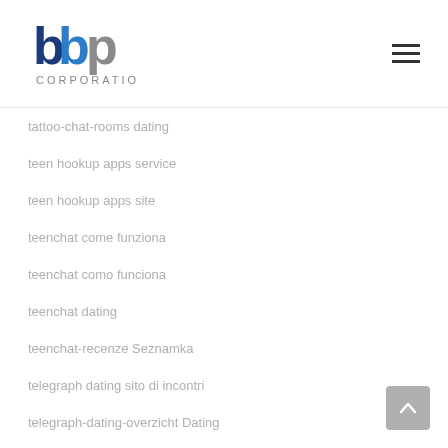[Figure (logo): bbp Corporation logo with blue and gray lettering]
tattoo-chat-rooms dating
teen hookup apps service
teen hookup apps site
teenchat come funziona
teenchat como funciona
teenchat dating
teenchat-recenze Seznamka
telegraph dating sito di incontri
telegraph-dating-overzicht Dating
tempe escort